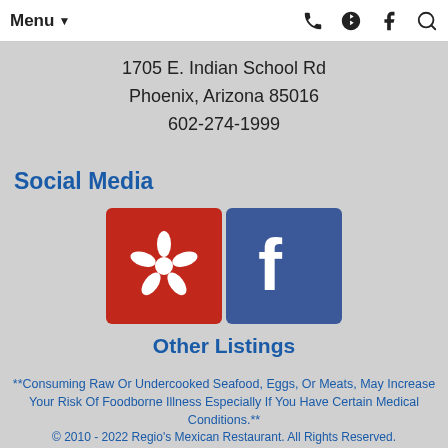Menu ▼ [phone icon] [yelp icon] [facebook icon] [search icon]
1705 E. Indian School Rd
Phoenix, Arizona 85016
602-274-1999
Social Media
[Figure (logo): Yelp logo (white burst/flame icon on red background) and Facebook logo (white f on blue background)]
Other Listings
**Consuming Raw Or Undercooked Seafood, Eggs, Or Meats, May Increase Your Risk Of Foodborne Illness Especially If You Have Certain Medical Conditions.**
© 2010 - 2022 Regio's Mexican Restaurant. All Rights Reserved.